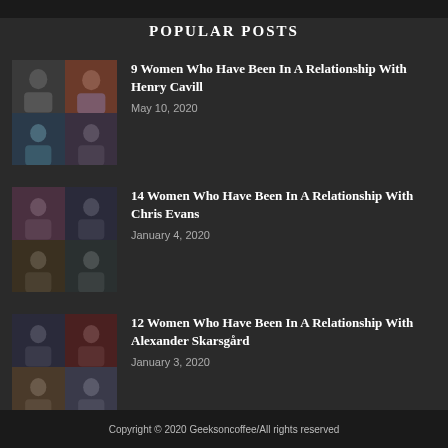POPULAR POSTS
[Figure (photo): Collage of 4 photos related to Henry Cavill relationships]
9 Women Who Have Been In A Relationship With Henry Cavill
May 10, 2020
[Figure (photo): Collage of 4 photos related to Chris Evans relationships]
14 Women Who Have Been In A Relationship With Chris Evans
January 4, 2020
[Figure (photo): Collage of 4 photos related to Alexander Skarsgård relationships]
12 Women Who Have Been In A Relationship With Alexander Skarsgård
January 3, 2020
Copyright © 2020 Geeksoncoffee/All rights reserved